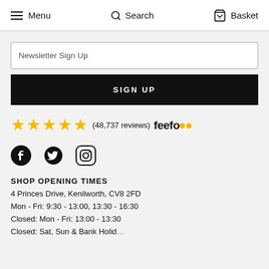Menu   Search   Basket
Newsletter Sign Up
SIGN UP
[Figure (other): Five gold stars rating with text '(48,737 reviews)' and feefo logo]
[Figure (other): Social media icons: Facebook, Twitter, Instagram]
SHOP OPENING TIMES
4 Princes Drive, Kenilworth, CV8 2FD
Mon - Fri: 9:30 - 13:00, 13:30 - 16:30
Closed: Mon - Fri: 13:00 - 13:30
Closed: Sat, Sun & Bank Holidays